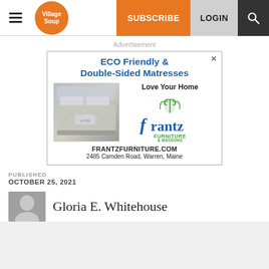Village Soup | SUBSCRIBE | LOGIN
Advertisement
[Figure (illustration): Frantz Furniture & Bedding advertisement featuring ECO Friendly & Double-Sided Matresses, bed photo, Frantz logo, FRANTZFURNITURE.COM, 2485 Camden Road, Warren, Maine]
PUBLISHED
OCTOBER 25, 2021
Gloria E. Whitehouse